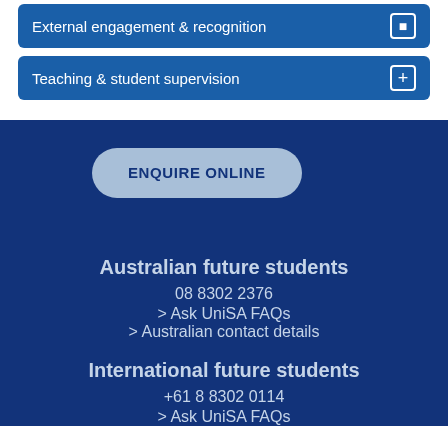External engagement & recognition
Teaching & student supervision
ENQUIRE ONLINE
Australian future students
08 8302 2376
> Ask UniSA FAQs
> Australian contact details
International future students
+61 8 8302 0114
> Ask UniSA FAQs